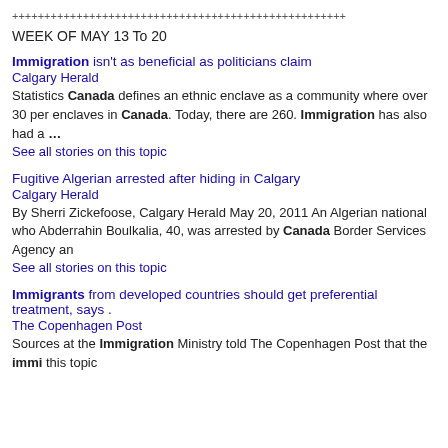++++++++++++++++++++++++++++++++++++++++++++++++++++
WEEK OF MAY 13 To 20
Immigration isn't as beneficial as politicians claim
Calgary Herald
Statistics Canada defines an ethnic enclave as a community where over 30 per enclaves in Canada. Today, there are 260. Immigration has also had a …
See all stories on this topic
Fugitive Algerian arrested after hiding in Calgary
Calgary Herald
By Sherri Zickefoose, Calgary Herald May 20, 2011 An Algerian national who Abderrahin Boulkalia, 40, was arrested by Canada Border Services Agency an
See all stories on this topic
Immigrants from developed countries should get preferential treatment, says .
The Copenhagen Post
Sources at the Immigration Ministry told The Copenhagen Post that the immi this topic